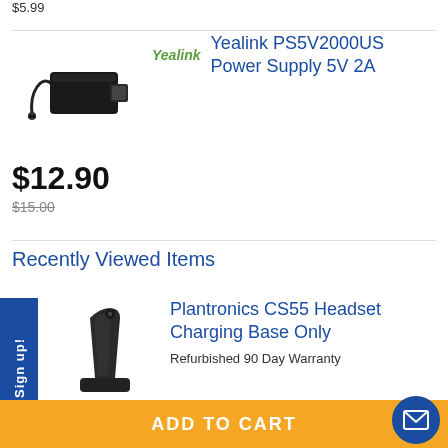$5.99
[Figure (photo): Yealink PS5V2000US power supply adapter, black rectangular block with cable]
Yealink  Yealink PS5V2000US Power Supply 5V 2A
$12.90
$15.00
Recently Viewed Items
[Figure (photo): Plantronics CS55 Headset Charging Base, black upright charging dock]
Plantronics CS55 Headset Charging Base Only
Refurbished 90 Day Warranty
ADD TO CART